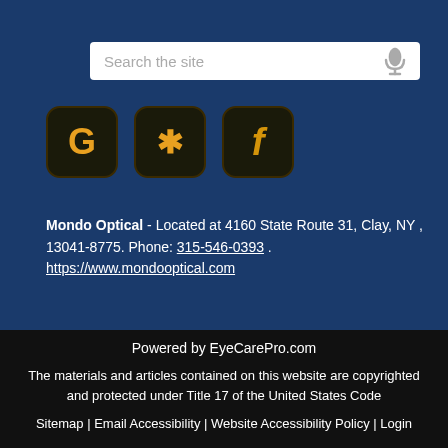[Figure (screenshot): Search bar with placeholder text 'Search the site' and microphone icon on dark blue background]
[Figure (logo): Three social media icons: Google (G), Yelp (asterisk/star), and Facebook (f) on dark square rounded backgrounds]
Mondo Optical - Located at 4160 State Route 31, Clay, NY , 13041-8775. Phone: 315-546-0393. https://www.mondooptical.com
Powered by EyeCarePro.com
The materials and articles contained on this website are copyrighted and protected under Title 17 of the United States Code
Sitemap | Email Accessibility | Website Accessibility Policy | Login